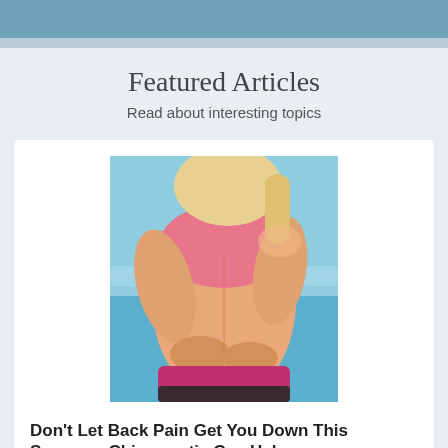Featured Articles
Read about interesting topics
[Figure (photo): Woman in pink sports bra holding her lower back in pain, outdoors at a beach]
Don't Let Back Pain Get You Down This Summer; Chiropractic Can Help